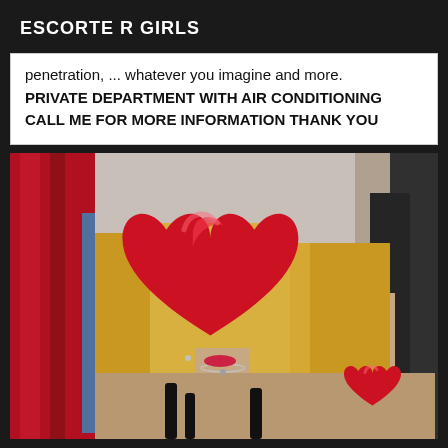ESCORTE R GIRLS
penetration, ... whatever you imagine and more.
PRIVATE DEPARTMENT WITH AIR CONDITIONING
CALL ME FOR MORE INFORMATION THANK YOU
[Figure (photo): Photo of a blonde woman with a large red heart emoji covering her face, and a smaller red heart emoji on her shoulder/arm area. She is wearing a black outfit. Background shows red curtain and blue/grey wall.]